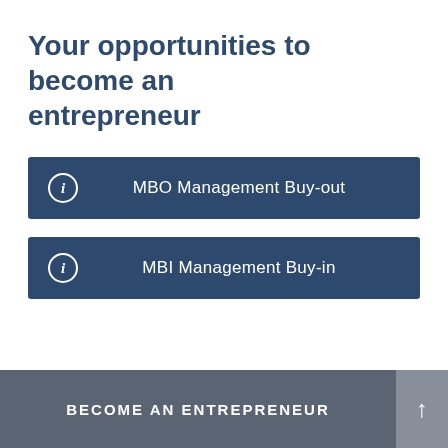Your opportunities to become an entrepreneur
MBO Management Buy-out
MBI Management Buy-in
BECOME AN ENTREPRENEUR